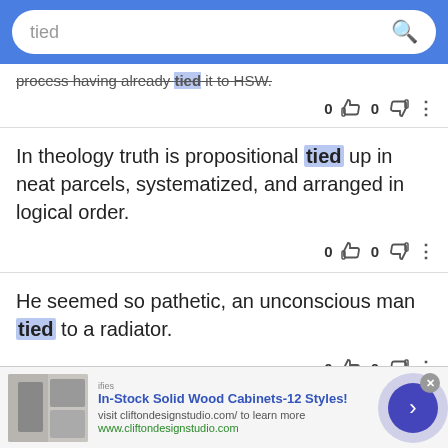tied (search bar)
process having already tied it to HSW.
In theology truth is propositional tied up in neat parcels, systematized, and arranged in logical order.
He seemed so pathetic, an unconscious man tied to a radiator.
Beautifully packaged in a luxury white gift box and
In-Stock Solid Wood Cabinets-12 Styles! visit cliftondesignstudio.com/ to learn more www.cliftondesignstudio.com